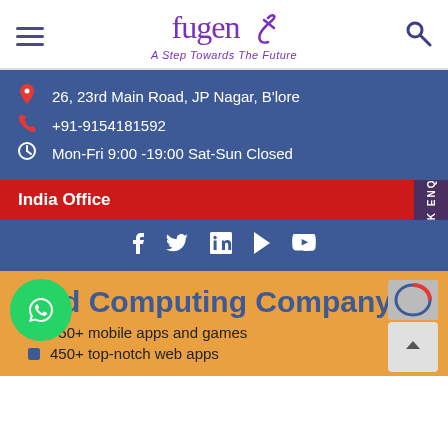fugen* | A Step Towards The Future
26, 23rd Main Road, JP Nagar, B'lore
+91-9154181592
Mon-Fri 9:00 -19:00 Sat-Sun Closed
India Office
f  in  p  (YouTube icon)
d Computing Company
750+ mobile apps and games
450+ top-notch web apps